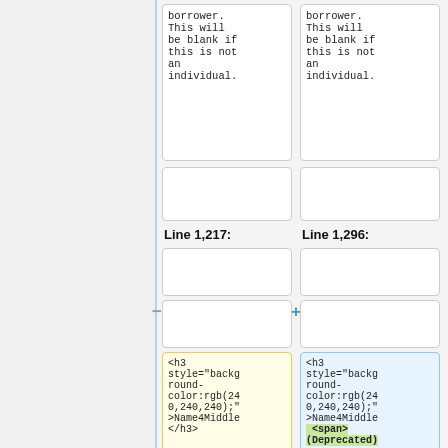| Line 1,217: | Line 1,296: |
| --- | --- |
| borrower.
This will
be blank if
this is not
an
individual. | borrower.
This will
be blank if
this is not
an
individual. |
|  |  |
|  |  |
|  |  |
| <h3 style="background-color:rgb(240,240,240);">Name4Middle</h3> | <h3 style="background-color:rgb(240,240,240);">Name4Middle<span>(Deprecated) |